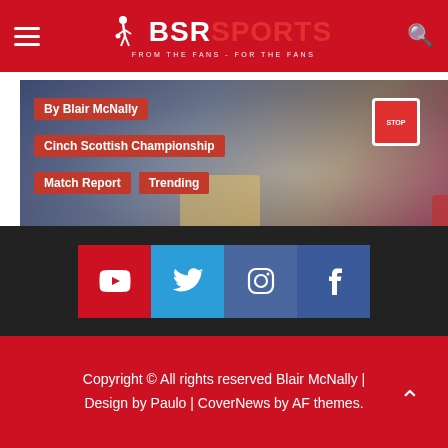BSR SPORTS — FROM THE FANS - FOR THE FANS
[Figure (photo): Sports action photo with players on field, partially visible, with overlay tags]
By Blair McNally
Cinch Scottish Championship
Match Report
Trending
MATCH REPORT: Partick Thistle 4-0 Ayr United – Firhill for thrills as Jags strike FOUR
11 months ago  BSR Sports
Copyright © All rights reserved Blair McNally | Design by Paulo | CoverNews by AF themes.